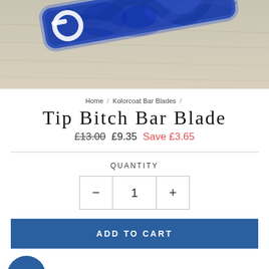[Figure (photo): Photo of a blue tie-dye patterned bar blade bottle opener on a wooden surface]
Home / Kolorcoat Bar Blades /
Tip Bitch Bar Blade
£13.00  £9.35  Save £3.65
QUANTITY
- 1 +
ADD TO CART
Are you a trade customer? Visit our trade site